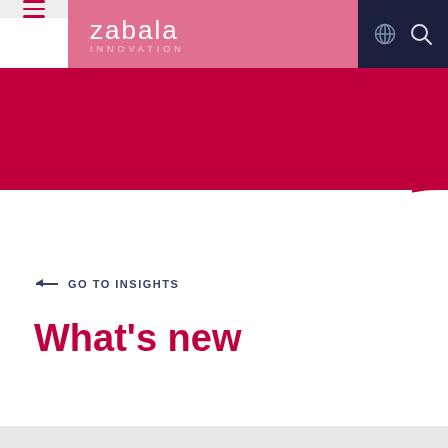[Figure (logo): Zabala Innovation logo with hamburger menu, globe icon, and search icon navigation bar on pink/dark navy background]
← GO TO INSIGHTS
What's new